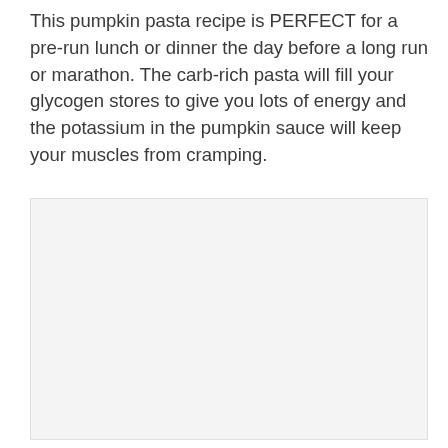This pumpkin pasta recipe is PERFECT for a pre-run lunch or dinner the day before a long run or marathon. The carb-rich pasta will fill your glycogen stores to give you lots of energy and the potassium in the pumpkin sauce will keep your muscles from cramping.
[Figure (photo): A light gray/off-white rectangular placeholder image area, likely showing a pumpkin pasta dish photo that did not load.]